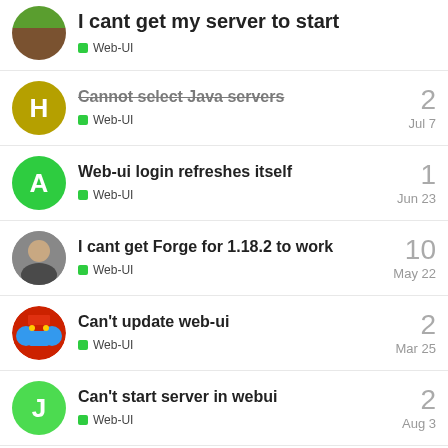I cant get my server to start
Web-UI
Cannot select Java servers
Web-UI
Jul 7
2
Web-ui login refreshes itself
Web-UI
Jun 23
1
I cant get Forge for 1.18.2 to work
Web-UI
May 22
10
Can't update web-ui
Web-UI
Mar 25
2
Can't start server in webui
Web-UI
Aug 3
2
Want to read more? Browse other topics in
■ Web-UI or view latest topics.